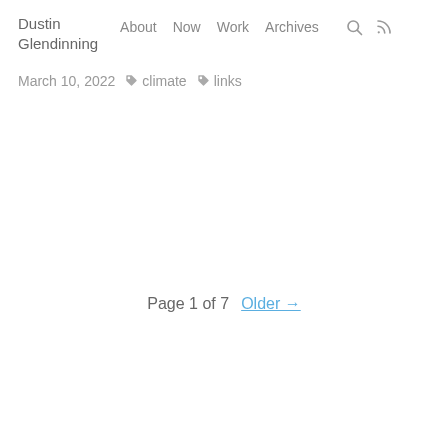Dustin Glendinning   About   Now   Work   Archives
March 10, 2022   🏷 climate   🏷 links
Page 1 of 7   Older →